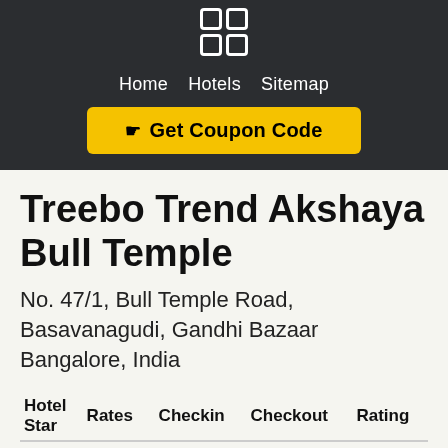[Figure (logo): Logo icon: 2x2 grid of white-bordered squares on dark background]
Home   Hotels   Sitemap
☛ Get Coupon Code
Treebo Trend Akshaya Bull Temple
No. 47/1, Bull Temple Road, Basavanagudi, Gandhi Bazaar Bangalore, India
| Hotel Star | Rates | Checkin | Checkout | Rating |
| --- | --- | --- | --- | --- |
| 3 | USD 0 | 12:00 | 11:00 AM | 0/0 |